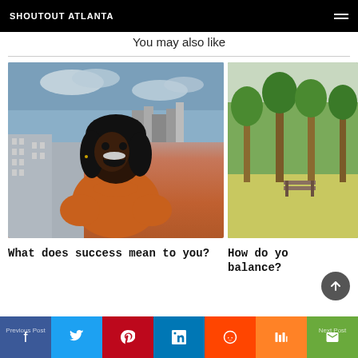SHOUTOUT ATLANTA
You may also like
[Figure (photo): Woman in orange turtleneck laughing on a rooftop with Atlanta skyline in background]
What does success mean to you?
[Figure (photo): Outdoor park scene with green grass and trees]
How do you balance?
Previous Post | f | twitter | pinterest | linkedin | reddit | mix | email | Next Post